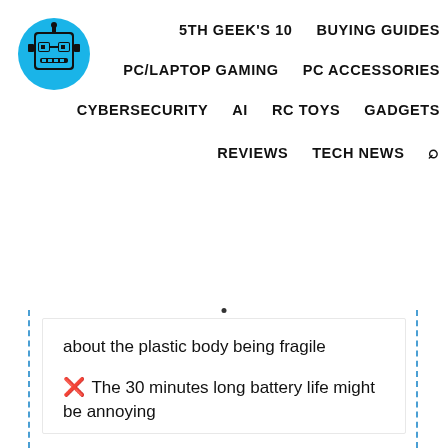[Figure (logo): Blue circle logo with pixel-art robot/geek face wearing glasses]
5TH GEEK'S 10   BUYING GUIDES   PC/LAPTOP GAMING   PC ACCESSORIES   CYBERSECURITY   AI   RC TOYS   GADGETS   REVIEWS   TECH NEWS
about the plastic body being fragile
✗ The 30 minutes long battery life might be annoying